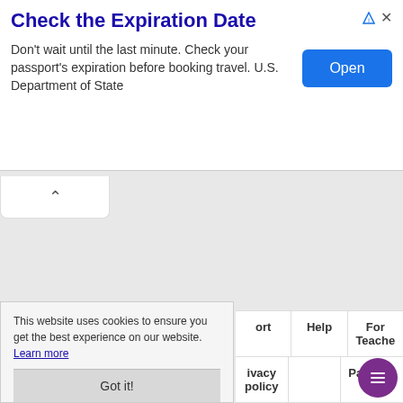Check the Expiration Date
Don't wait until the last minute. Check your passport's expiration before booking travel. U.S. Department of State
[Figure (screenshot): Blue 'Open' button for advertisement]
[Figure (screenshot): Collapse tab with upward caret arrow]
This website uses cookies to ensure you get the best experience on our website. Learn more
Got it!
ort  Help  For Teachers  ivacy policy  Partners